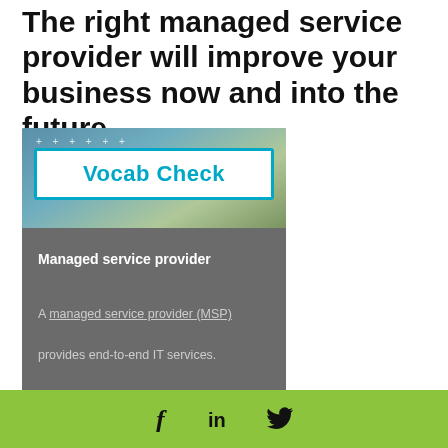The right managed service provider will improve your business now and into the future.
[Figure (infographic): Vocab Check box with dark grey background, containing a decorative banner image and the title 'Vocab Check', followed by the term 'Managed service provider' and definition text: 'A managed service provider (MSP) provides end-to-end IT services. With an MSP partner, your entire IT']
Social media icons: Facebook, LinkedIn, Twitter